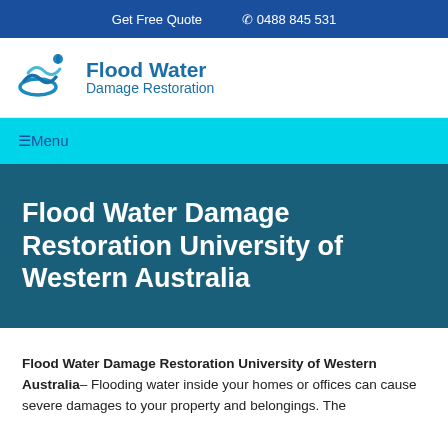Get Free Quote  ☎ 0488 845 531
[Figure (logo): Flood Water Damage Restoration logo with wave graphic and blue text]
☰Menu
Flood Water Damage Restoration University of Western Australia
Flood Water Damage Restoration University of Western Australia– Flooding water inside your homes or offices can cause severe damages to your property and belongings. The